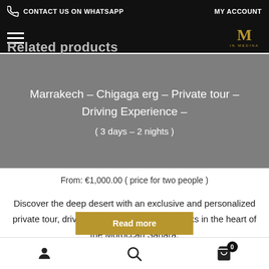CONTACT US ON WHATSAPP  MY ACCOUNT
Related products
Marrakech – Chigaga erg – Private tour – Driving Experience – ( 3 days – 2 nights )
From: €1,000.00 ( price for two people )
Discover the deep desert with an exclusive and personalized private tour, drive your 4WD through the tracks in the heart of the Moroccan Sahara.
Read more